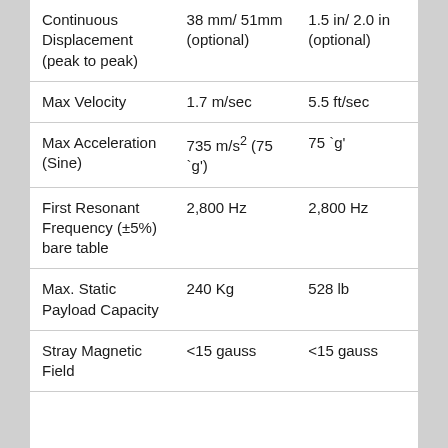| Continuous Displacement (peak to peak) | 38 mm/ 51mm (optional) | 1.5 in/ 2.0 in (optional) |
| Max Velocity | 1.7 m/sec | 5.5 ft/sec |
| Max Acceleration (Sine) | 735 m/s² (75 `g') | 75 `g' |
| First Resonant Frequency (±5%) bare table | 2,800 Hz | 2,800 Hz |
| Max. Static Payload Capacity | 240 Kg | 528 lb |
| Stray Magnetic Field | <15 gauss | <15 gauss |